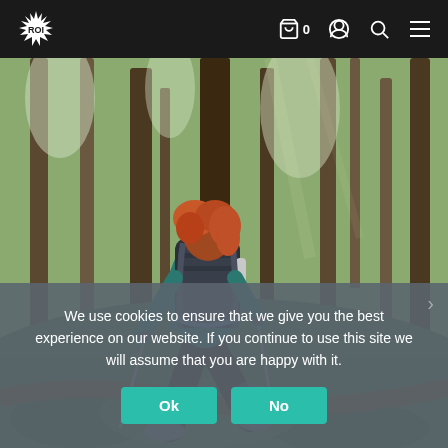[Figure (screenshot): ROI outdoor retailer website navigation bar with logo, cart icon with 0, account icon, search icon, and hamburger menu on dark background]
[Figure (photo): Woman with red curly hair wearing a teal jacket and dark hiking pants, carrying a large dark backpack with trekking poles, hiking through a mossy forest with tall trees and green undergrowth]
We use cookies to ensure that we give you the best experience on our website. If you continue to use this site we will assume that you are happy with it.
Ok
No